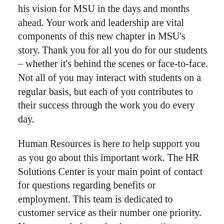his vision for MSU in the days and months ahead. Your work and leadership are vital components of this new chapter in MSU's story. Thank you for all you do for our students – whether it's behind the scenes or face-to-face. Not all of you may interact with students on a regular basis, but each of you contributes to their success through the work you do every day.
Human Resources is here to help support you as you go about this important work. The HR Solutions Center is your main point of contact for questions regarding benefits or employment. This team is dedicated to customer service as their number one priority. You can reach them via phone, email, or in-person at 110 Nisbet Building.
You also can share feedback with Sharon at hrmail@msu.edu or Terry at ahr@msu.edu.